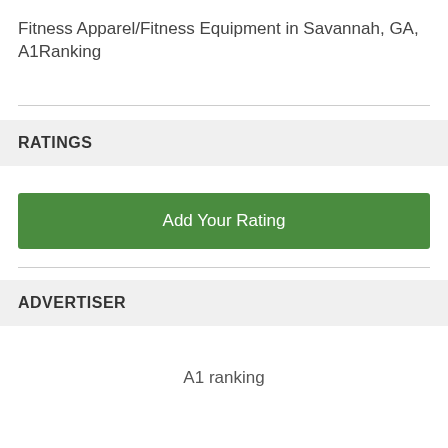Fitness Apparel/Fitness Equipment in Savannah, GA, A1Ranking
RATINGS
Add Your Rating
ADVERTISER
A1 ranking